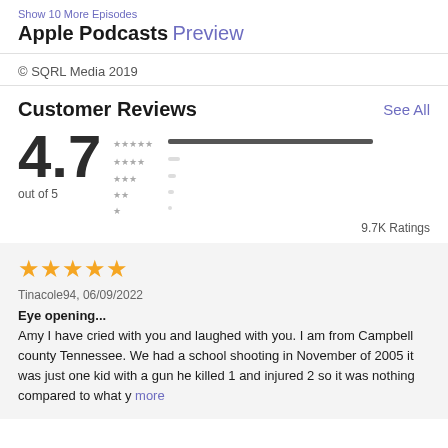Show 10 More Episodes
Apple Podcasts Preview
© SQRL Media 2019
Customer Reviews
See All
4.7 out of 5
[Figure (bar-chart): Rating distribution]
9.7K Ratings
★★★★★
Tinacole94, 06/09/2022
Eye opening...
Amy I have cried with you and laughed with you. I am from Campbell county Tennessee. We had a school shooting in November of 2005 it was just one kid with a gun he killed 1 and injured 2 so it was nothing compared to what y more